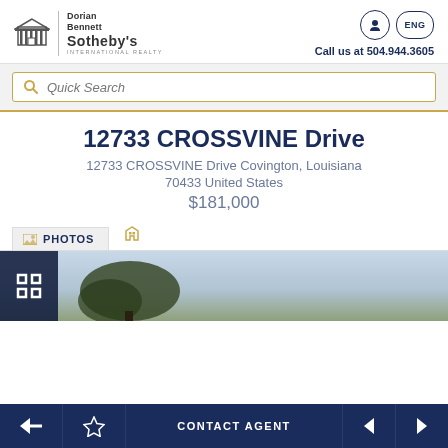[Figure (logo): Dorian Bennett Sotheby's International Realty logo with building icon]
Call us at 504.944.3605
Quick Search
12733 CROSSVINE Drive
12733 CROSSVINE Drive Covington, Louisiana
70433 United States
$181,000
PHOTOS
[Figure (photo): Outdoor property photo showing trees against a cloudy sky]
CONTACT AGENT navigation footer with back, favorite, contact agent, previous and next buttons